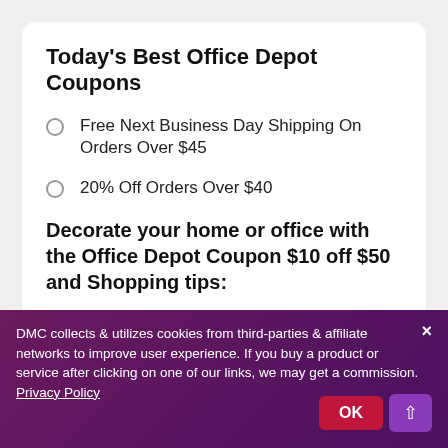Today's Best Office Depot Coupons
Free Next Business Day Shipping On Orders Over $45
20% Off Orders Over $40
Decorate your home or office with the Office Depot Coupon $10 off $50 and Shopping tips:
The company is offering free shipping via all its main delivery types to all addresses of the United States, and no Office Depot coupons are needed for it. These offers...
DMC collects & utilizes cookies from third-parties & affiliate networks to improve user experience. If you buy a product or service after clicking on one of our links, we may get a commission. Privacy Policy